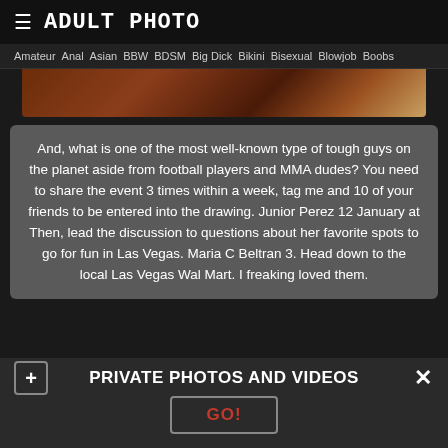ADULT PHOTO
Amateur  Anal  Asian  BBW  BDSM  Big Dick  Bikini  Bisexual  Blowjob  Boobs
[Figure (photo): Partial image visible at top, dark brownish tones]
And, what is one of the most well-known type of tough guys on the planet aside from football players and MMA dudes? You need to share the event 3 times within a week, tag me and 10 of your friends to be entered into the drawing. Junior Perez 12 January at Then, lead the discussion to questions about her favorite spots to go for fun in Las Vegas. Maria C Beltran 3. Head down to the local Las Vegas Wal Mart. I freaking loved them.
PRIVATE PHOTOS AND VIDEOS
GO!